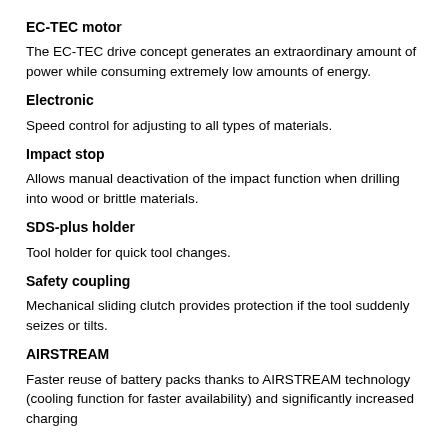EC-TEC motor
The EC-TEC drive concept generates an extraordinary amount of power while consuming extremely low amounts of energy.
Electronic
Speed control for adjusting to all types of materials.
Impact stop
Allows manual deactivation of the impact function when drilling into wood or brittle materials.
SDS-plus holder
Tool holder for quick tool changes.
Safety coupling
Mechanical sliding clutch provides protection if the tool suddenly seizes or tilts.
AIRSTREAM
Faster reuse of battery packs thanks to AIRSTREAM technology (cooling function for faster availability) and significantly increased charging